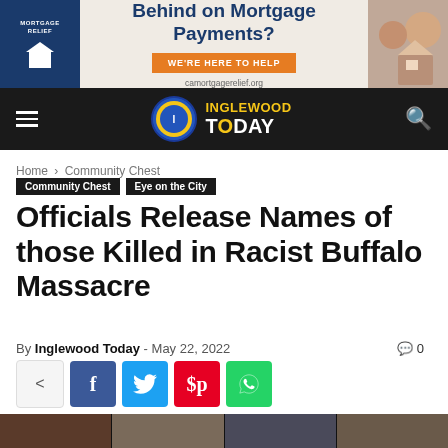[Figure (infographic): Ad banner: Behind on Mortgage Payments? WE'RE HERE TO HELP. camortgagerelief.org]
[Figure (logo): Inglewood Today newspaper logo with navigation bar on dark background]
Home › Community Chest
Community Chest   Eye on the City
Officials Release Names of those Killed in Racist Buffalo Massacre
By Inglewood Today - May 22, 2022   🗨 0
[Figure (infographic): Social share buttons: share, Facebook (f), Twitter (bird), Pinterest (p), WhatsApp (phone)]
[Figure (photo): Bottom photo strip showing partial images of people related to the Buffalo massacre story]